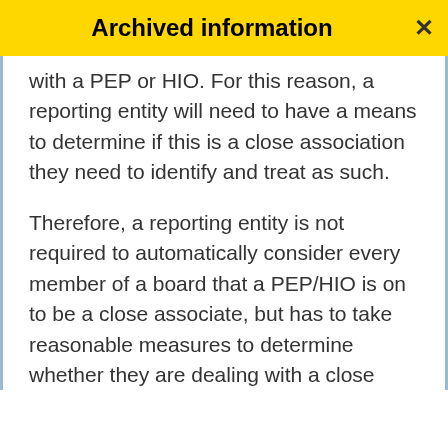Archived information
with a PEP or HIO. For this reason, a reporting entity will need to have a means to determine if this is a close association they need to identify and treat as such.
Therefore, a reporting entity is not required to automatically consider every member of a board that a PEP/HIO is on to be a close associate, but has to take reasonable measures to determine whether they are dealing with a close